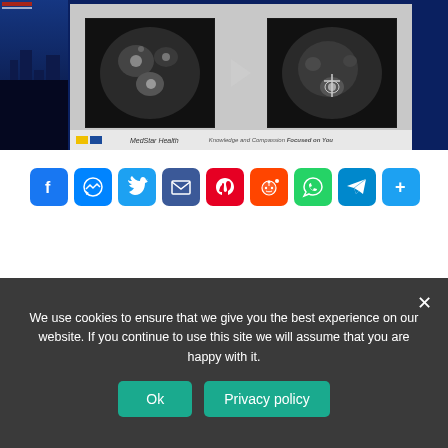[Figure (screenshot): Medical CT scan video thumbnail showing two CT images side by side with a play button, MedStar Health branding at bottom]
[Figure (infographic): Row of social sharing buttons: Facebook, Messenger, Twitter, Email, Pinterest, Reddit, WhatsApp, Telegram, Share More]
PREVIOUS
WHAT HAPPENED TO THE BEEBE RANCH?
We use cookies to ensure that we give you the best experience on our website. If you continue to use this site we will assume that you are happy with it.
Ok    Privacy policy